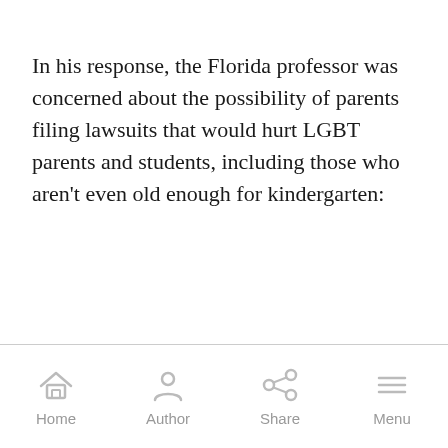In his response, the Florida professor was concerned about the possibility of parents filing lawsuits that would hurt LGBT parents and students, including those who aren't even old enough for kindergarten:
Home | Author | Share | Menu